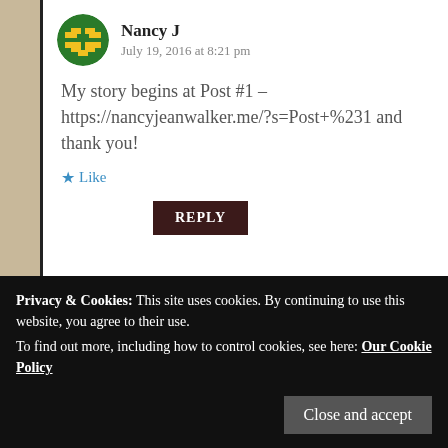Nancy J
July 19, 2016 at 8:21 pm
My story begins at Post #1 – https://nancyjeanwalker.me/?s=Post+%231 and thank you!
★ Like
REPLY
Nancy J
July 19, 2016 at 8:23 pm
Privacy & Cookies: This site uses cookies. By continuing to use this website, you agree to their use.
To find out more, including how to control cookies, see here: Our Cookie Policy
Close and accept
REPLY